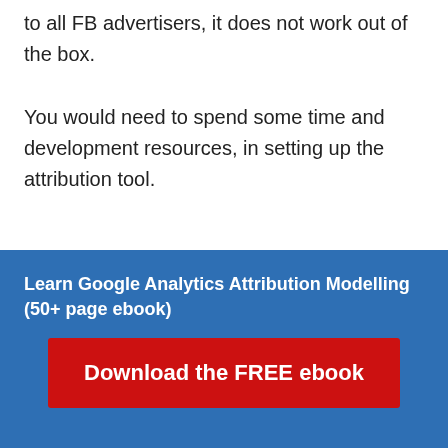to all FB advertisers, it does not work out of the box.
You would need to spend some time and development resources, in setting up the attribution tool.
Learn Google Analytics Attribution Modelling (50+ page ebook)
Download the FREE ebook